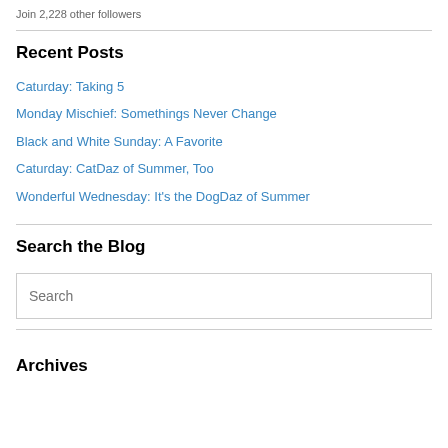Join 2,228 other followers
Recent Posts
Caturday: Taking 5
Monday Mischief: Somethings Never Change
Black and White Sunday: A Favorite
Caturday: CatDaz of Summer, Too
Wonderful Wednesday: It’s the DogDaz of Summer
Search the Blog
Search
Archives